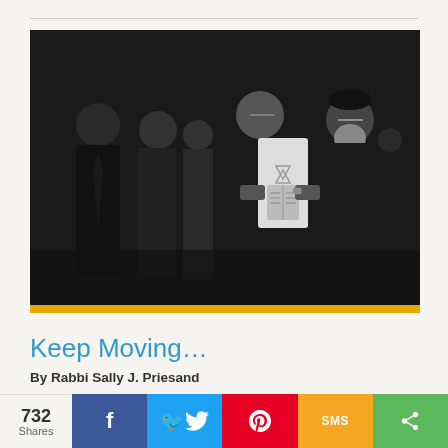[Figure (photo): Black and white photograph of a group of men in suits, including a figure carrying a white Torah scroll with a Star of David emblem. The scene appears to be a civil rights era march or gathering.]
Keep Moving…
By Rabbi Sally J. Priesand
I joined America's Journey for Justice in North Carolina during the week of Nitzavim, a portion that will be read again on the morning of Yom Kippur. It describes for us that moment when our ancestors
732 Shares | Facebook | Twitter | Pinterest | SMS | Share